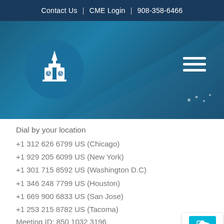Contact Us  |  CME Login  |  908-358-6466
[Figure (screenshot): Website hero banner with dark blue gradient background, church/building logo icon in a circle on the left, and hamburger menu icon on the right]
Dial by your location
+1 312 626 6799 US (Chicago)
+1 929 205 6099 US (New York)
+1 301 715 8592 US (Washington D.C)
+1 346 248 7799 US (Houston)
+1 669 900 6833 US (San Jose)
+1 253 215 8782 US (Tacoma)
Meeting ID: 850 1032 3196
Find your local number: